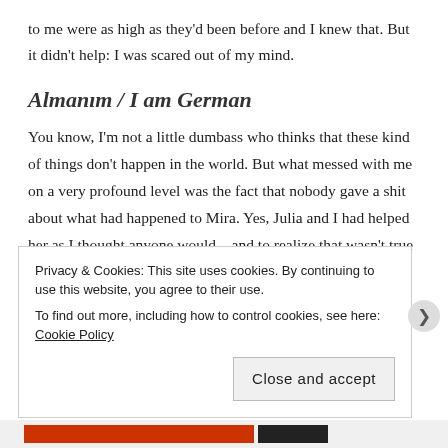to me were as high as they'd been before and I knew that. But it didn't help: I was scared out of my mind.
Almanım / I am German
You know, I'm not a little dumbass who thinks that these kind of things don't happen in the world. But what messed with me on a very profound level was the fact that nobody gave a shit about what had happened to Mira. Yes, Julia and I had helped her as I thought anyone would – and to realize that wasn't true has been hard on me. Especially the fact that
Privacy & Cookies: This site uses cookies. By continuing to use this website, you agree to their use.
To find out more, including how to control cookies, see here: Cookie Policy

Close and accept